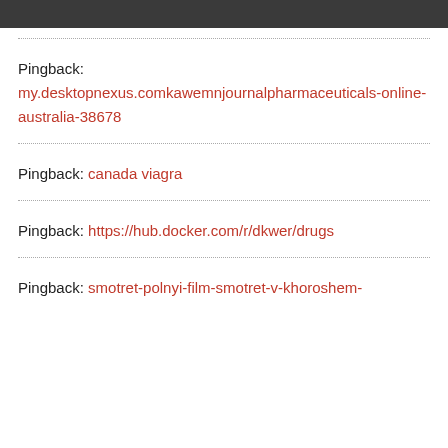Pingback: my.desktopnexus.comkawemnjournalpharmaceuticals-online-australia-38678
Pingback: canada viagra
Pingback: https://hub.docker.com/r/dkwer/drugs
Pingback: smotret-polnyi-film-smotret-v-khoroshem-